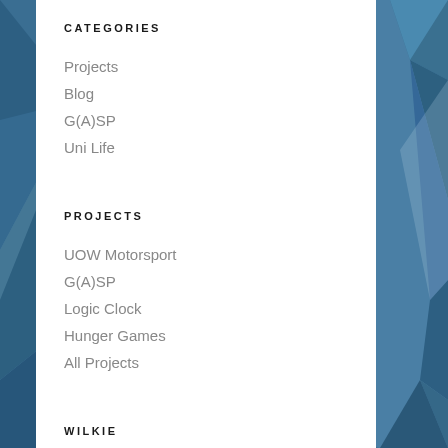CATEGORIES
Projects
Blog
G(A)SP
Uni Life
PROJECTS
UOW Motorsport
G(A)SP
Logic Clock
Hunger Games
All Projects
WILKIE
Home